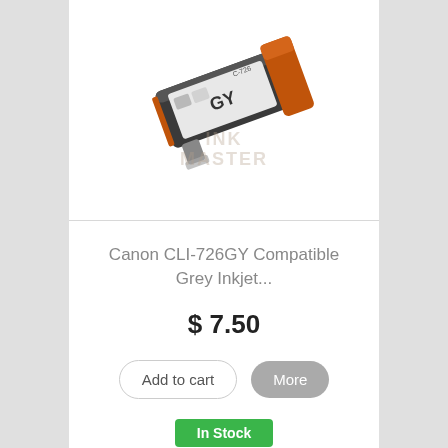[Figure (photo): Canon CLI-726GY grey ink cartridge with orange cap and GY label, shown at an angle with watermark text 'INK MASTER']
Canon CLI-726GY Compatible Grey Inkjet...
$ 7.50
Add to cart   More
In Stock